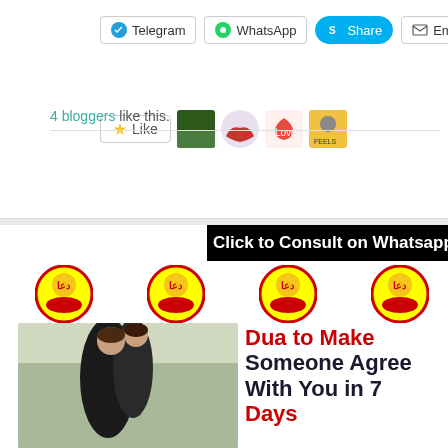[Figure (screenshot): Social sharing buttons: Telegram, WhatsApp, Share (Skype), Email]
[Figure (screenshot): Like button with 4 blogger avatar thumbnails]
4 bloggers like this.
[Figure (illustration): Advertisement image: Black banner 'Click to Consult on Whatsapp', dua icons row, couple embracing photo with text 'Dua to Make Someone Agree With You in 7 Days']